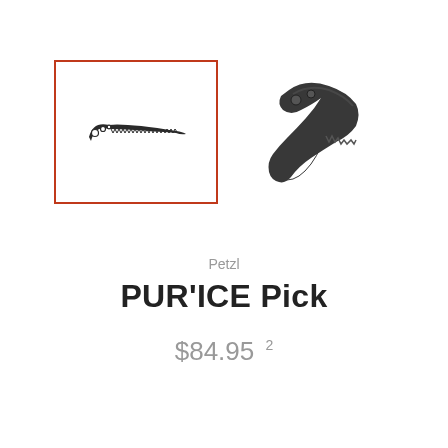[Figure (photo): Two views of the Petzl PUR'ICE Pick ice axe replacement pick. Left image shows a side-profile line drawing of the serrated pick, displayed inside an orange-red bordered box. Right image shows a photograph of the actual dark grey/black serrated pick from a slightly angled perspective.]
Petzl
PUR'ICE Pick
$84.95  2